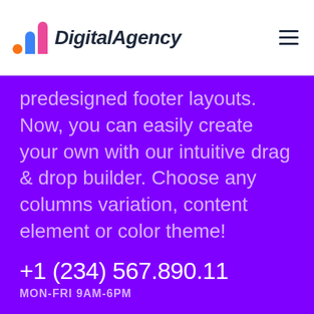DigitalAgency
predesigned footer layouts. Now, you can easily create your own with our intuitive drag & drop builder. Choose any columns variation, content element or color theme!
+1 (234) 567.890.11
MON-FRI 9AM-6PM
sales@example.com